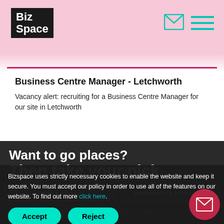BizSpace
Business Centre Manager - Letchworth
Vacancy alert: recruiting for a Business Centre Manager for our site in Letchworth
Want to go places? Then take your pick.
OFFICES & STUDIOS
WORKSHOPS & STORAGE
VIRTUAL OFFICES
MEETING ROOMS
Bizspace uses strictly necessary cookies to enable the website and keep it secure. You must accept our policy in order to use all of the features on our website. To find out more click here.
Accept
Reject